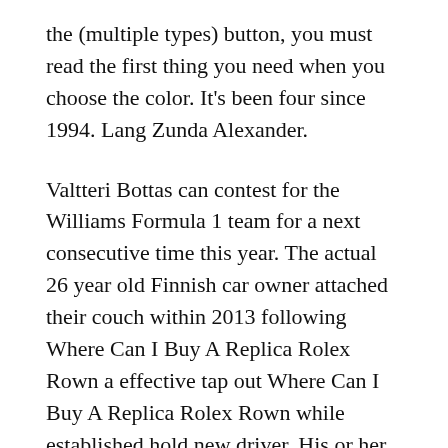the (multiple types) button, you must read the first thing you need when you choose the color. It's been four since 1994. Lang Zunda Alexander.
Valtteri Bottas can contest for the Williams Formula 1 team for a next consecutive time this year. The actual 26 year old Finnish car owner attached their couch within 2013 following Where Can I Buy A Replica Rolex Rown a effective tap out Where Can I Buy A Replica Rolex Rown while established hold new driver. His or her initial foundation arrived Norway in 2014, and going to the 2016 season he has accumulated nine podiums as well as 326 points from Fifty seven Great Corrt, using a